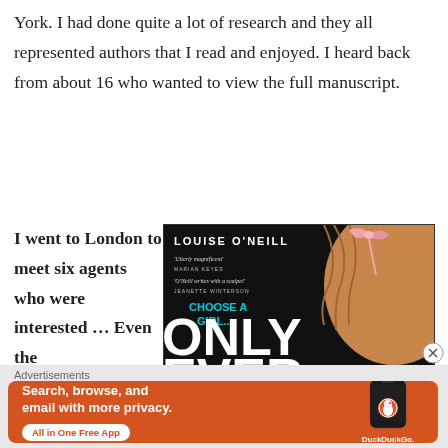York. I had done quite a lot of research and they all represented authors that I read and enjoyed. I heard back from about 16 who wanted to view the full manuscript.
I went to London to meet six agents who were interested … Even the
[Figure (photo): Book cover of 'Only Ever' by Louise O'Neill, with a pink ribbon and blonde hair visible, dark background. Blurbs from Marian Keyes and Jeanette Winterson. Subtitle reads 'Choose a Girl...']
Advertisements
[Figure (infographic): DuckDuckGo advertisement banner on orange/red background. Text: 'Search, browse, and email with more privacy. All in One Free App'. Shows a phone with DuckDuckGo logo.]